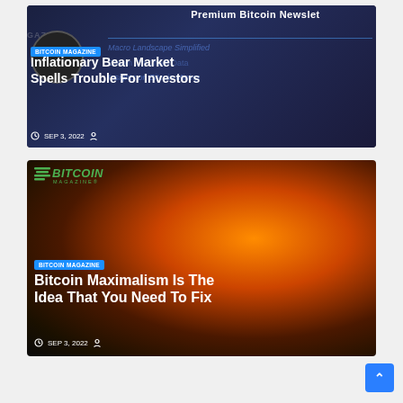[Figure (screenshot): Bitcoin Magazine article card with dark blue background showing 'Premium Bitcoin Newsletter', 'Macro Landscape Simplified', 'Bitcoin On-Chain Data', 'Insights on Bitcoin Mining' text overlays, with a BITCOIN MAGAZINE badge and article title 'Inflationary Bear Market Spells Trouble For Investors', dated SEP 3, 2022]
[Figure (screenshot): Bitcoin Magazine article card with fire/bonfire photo background and dollar bills, showing Bitcoin Magazine logo in green, BITCOIN MAGAZINE badge, article title 'Bitcoin Maximalism Is The Idea That You Need To Fix', dated SEP 3, 2022]